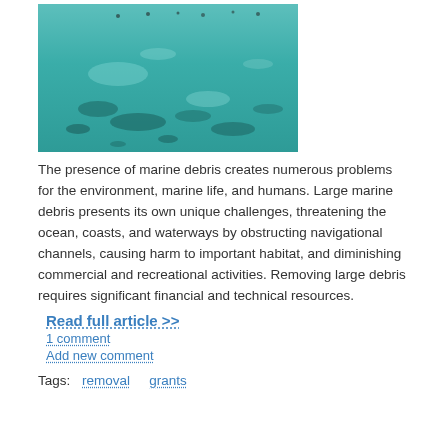[Figure (photo): Aerial or close-up photograph of turquoise/teal ocean water with some dark patches, possibly showing marine debris or reef below the surface, with small figures (people) visible in the upper portion of the water.]
The presence of marine debris creates numerous problems for the environment, marine life, and humans. Large marine debris presents its own unique challenges, threatening the ocean, coasts, and waterways by obstructing navigational channels, causing harm to important habitat, and diminishing commercial and recreational activities. Removing large debris requires significant financial and technical resources.
Read full article >>
1 comment
Add new comment
Tags: removal grants